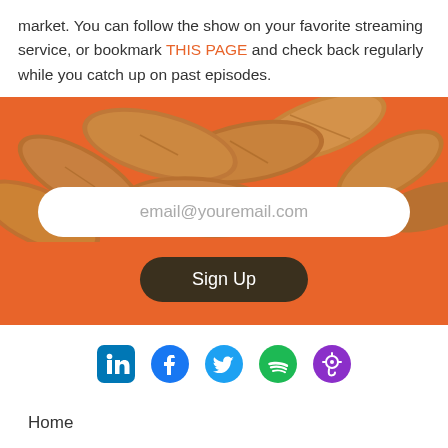market. You can follow the show on your favorite streaming service, or bookmark THIS PAGE and check back regularly while you catch up on past episodes.
[Figure (other): Orange background section with almonds photo at top, email input field showing 'email@youremail.com', and a dark brown 'Sign Up' button]
[Figure (infographic): Social media icons row: LinkedIn (blue square), Facebook (blue circle), Twitter (blue circle), Spotify (green circle), Podcasts/Apple Podcasts (purple circle)]
Home
Company